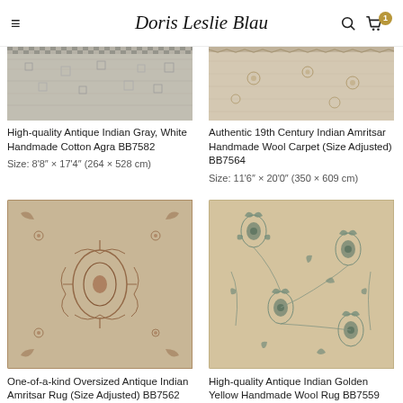Doris Leslie Blau
[Figure (photo): Partial view of antique Indian gray/white cotton Agra rug at top of page]
High-quality Antique Indian Gray, White Handmade Cotton Agra BB7582
Size: 8'8" × 17'4" (264 × 528 cm)
[Figure (photo): Partial view of 19th century Indian Amritsar handmade wool carpet at top of page]
Authentic 19th Century Indian Amritsar Handmade Wool Carpet (Size Adjusted) BB7564
Size: 11'6" × 20'0" (350 × 609 cm)
[Figure (photo): Oversized antique Indian Amritsar rug with intricate floral/arabesque patterns in warm tan, rust and burgundy tones]
One-of-a-kind Oversized Antique Indian Amritsar Rug (Size Adjusted) BB7562
Size: 15'10" × 24'5" (482 × 744
[Figure (photo): Antique Indian golden yellow handmade wool rug with floral motifs and blue/teal botanical designs on beige background]
High-quality Antique Indian Golden Yellow Handmade Wool Rug BB7559
Size: 11'6" × 17'10" (350 × 543